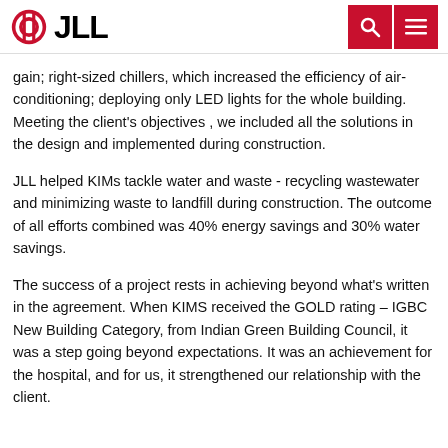JLL
gain; right-sized chillers, which increased the efficiency of air-conditioning; deploying only LED lights for the whole building. Meeting the client's objectives , we included all the solutions in the design and implemented during construction.
JLL helped KIMs tackle water and waste - recycling wastewater and minimizing waste to landfill during construction. The outcome of all efforts combined was 40% energy savings and 30% water savings.
The success of a project rests in achieving beyond what's written in the agreement. When KIMS received the GOLD rating – IGBC New Building Category, from Indian Green Building Council, it was a step going beyond expectations. It was an achievement for the hospital, and for us, it strengthened our relationship with the client.